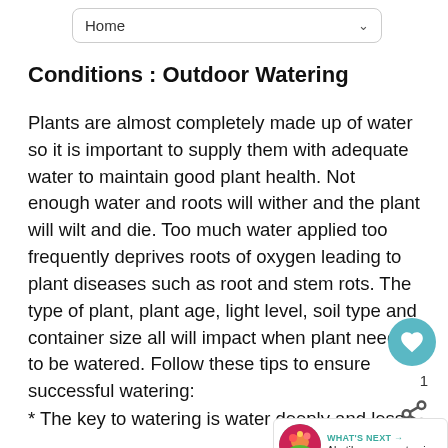Home
Conditions : Outdoor Watering
Plants are almost completely made up of water so it is important to supply them with adequate water to maintain good plant health. Not enough water and roots will wither and the plant will wilt and die. Too much water applied too frequently deprives roots of oxygen leading to plant diseases such as root and stem rots. The type of plant, plant age, light level, soil type and container size all will impact when plant needs to be watered. Follow these tips to ensure successful watering:
* The key to watering is water deeply and less